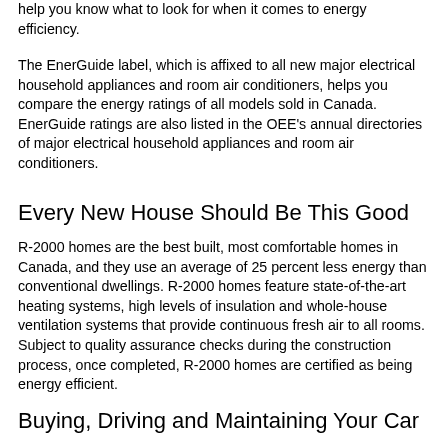help you know what to look for when it comes to energy efficiency.
The EnerGuide label, which is affixed to all new major electrical household appliances and room air conditioners, helps you compare the energy ratings of all models sold in Canada. EnerGuide ratings are also listed in the OEE's annual directories of major electrical household appliances and room air conditioners.
Every New House Should Be This Good
R-2000 homes are the best built, most comfortable homes in Canada, and they use an average of 25 percent less energy than conventional dwellings. R-2000 homes feature state-of-the-art heating systems, high levels of insulation and whole-house ventilation systems that provide continuous fresh air to all rooms. Subject to quality assurance checks during the construction process, once completed, R-2000 homes are certified as being energy efficient.
Buying, Driving and Maintaining Your Car